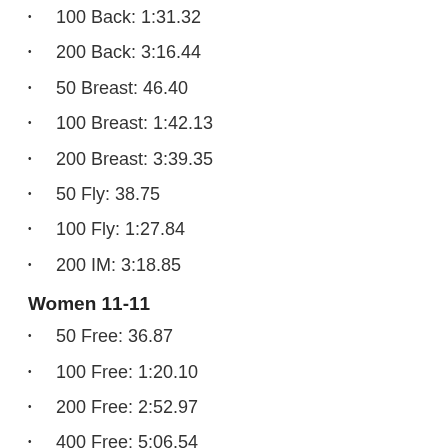100 Back: 1:31.32
200 Back: 3:16.44
50 Breast: 46.40
100 Breast: 1:42.13
200 Breast: 3:39.35
50 Fly: 38.75
100 Fly: 1:27.84
200 IM: 3:18.85
Women 11-11
50 Free: 36.87
100 Free: 1:20.10
200 Free: 2:52.97
400 Free: 5:06.54
50 Back: 41.97
100 Back: 1:31.32
200 Back: 3:16.44